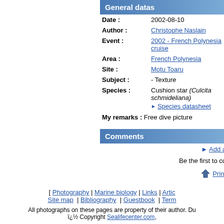General datas
| Date : | 2002-08-10 |
| Author : | Christophe Naslain |
| Event : | 2002 - French Polynesia cruise |
| Area : | French Polynesia |
| Site : | Motu Toaru |
| Subject : | - Texture |
| Species : | Cushion star (Culcita schmideliana) ► Species datasheet |
My remarks : Free dive picture
Comments
► Add a
Be the first to co
Print
[ Photography | Marine biology | Links | Artic Site map | Bibliography | Guestbook | Term
All photographs on these pages are property of their author. Du ï¿½ Copyright Sealifecenter.com,